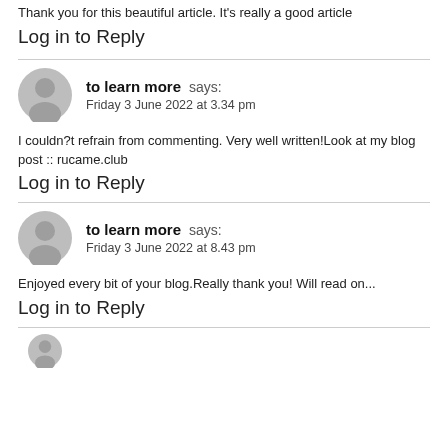Thank you for this beautiful article. It's really a good article
Log in to Reply
to learn more says:
Friday 3 June 2022 at 3.34 pm
I couldn?t refrain from commenting. Very well written!Look at my blog post :: rucame.club
Log in to Reply
to learn more says:
Friday 3 June 2022 at 8.43 pm
Enjoyed every bit of your blog.Really thank you! Will read on...
Log in to Reply